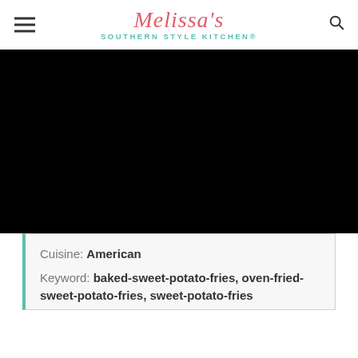Melissa's Southern Style Kitchen®
[Figure (photo): Black image area (food photo, mostly obscured)]
Cuisine: American
Keyword: baked-sweet-potato-fries, oven-fried-sweet-potato-fries, sweet-potato-fries
Servings: 8 servings    Calories: 217kcal